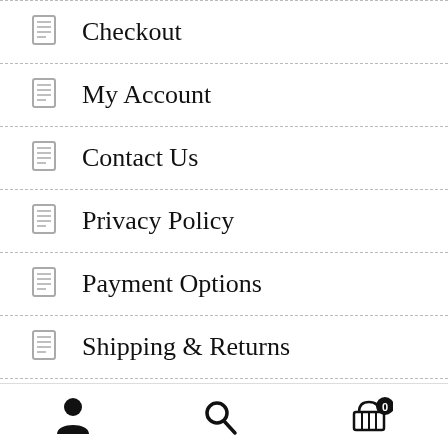Checkout
My Account
Contact Us
Privacy Policy
Payment Options
Shipping & Returns
About us
User | Search | Cart (0)